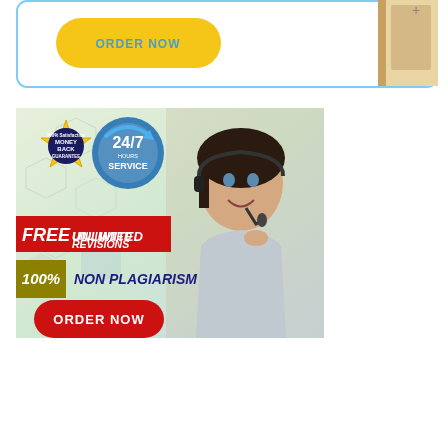[Figure (infographic): Top banner with yellow ORDER NOW button and decorative corner image on white card with blue border]
[Figure (infographic): Advertisement banner: Money Back Guarantee badge, 24/7 Hours Service circle, woman with headset, FREE UNLIMITED REVISIONS, 100% NON PLAGIARISM, ORDER NOW button]